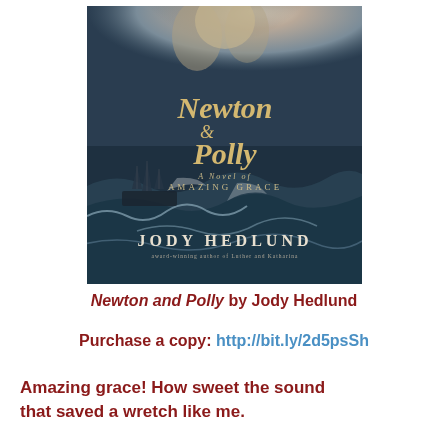[Figure (illustration): Book cover of 'Newton & Polly: A Novel of Amazing Grace' by Jody Hedlund, featuring a stormy seascape with a sailing ship and a figure with curly hair above the title in gold italic lettering on a dark blue-grey background.]
Newton and Polly by Jody Hedlund
Purchase a copy: http://bit.ly/2d5psSh
Amazing grace! How sweet the sound that saved a wretch like me.